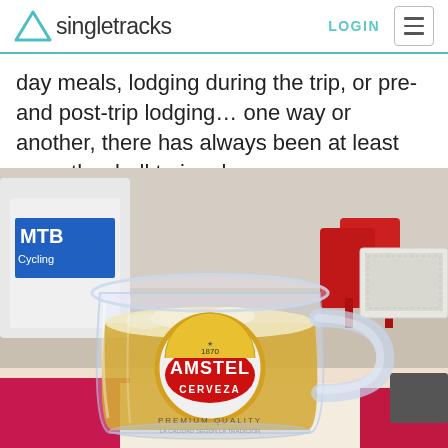Singletracks — LOGIN navigation header
day meals, lodging during the trip, or pre- and post-trip lodging… one way or another, there has always been at least one other ball to juggle.
[Figure (photo): A glass beer mug filled with Amstel Cerveza beer on a pink and white checkered table, with cyclists in the background at an outdoor café.]